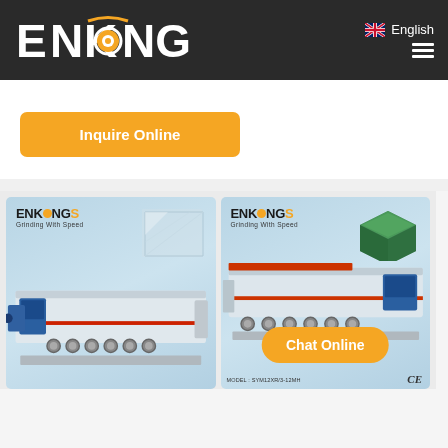ENKONG — English header navigation
Inquire Online
[Figure (screenshot): Two Enkong glass grinding machine product cards side by side, each showing the ENKONGS Grinding With Speed logo, a machine image, and one card has a Chat Online button. Bottom of second card shows MODEL: SYM12XR/3-12MH and CE mark.]